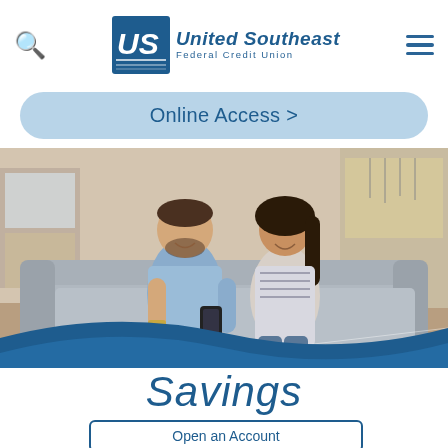United Southeast Federal Credit Union
Online Access >
[Figure (photo): A couple sitting on a couch smiling and looking at a smartphone together in a bright home setting]
Savings
Open an Account